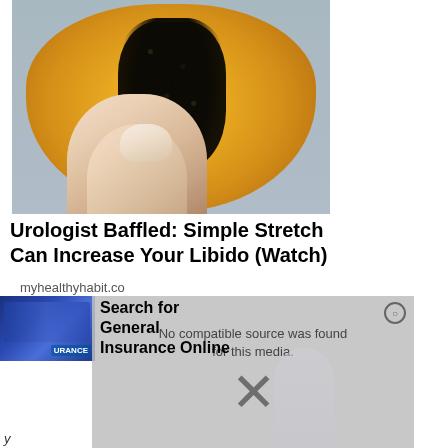[Figure (photo): A halved papaya fruit showing black seeds inside the orange flesh, with a hand/finger touching the seeds]
Urologist Baffled: Simple Stretch Can Increase Your Libido (Watch)
myhealthyhabit.co
[Figure (photo): Thumbnail image of computer keyboard with insurance-related imagery, partially overlaid by a video player showing 'No compatible source was found for this media.' with an X close button]
Search for General Insurance Online